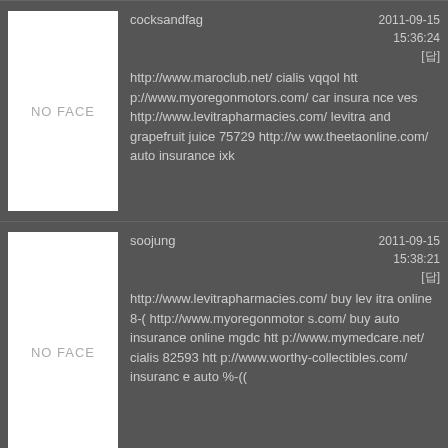cocksandfag
2011-09-15 15:36:24 [답]
http://www.maroclub.net/ cialis vqqol http://www.myoregonmotors.com/ car insurance ves http://www.levitrapharmacies.com/ levitra and grapefruit juice 75729 http://www.theetaonline.com/ auto insurance ixk
soojung
2011-09-15 15:38:21 [답]
http://www.levitrapharmacies.com/ buy levitra online 8-( http://www.myoregonmotors.com/ buy auto insurance online mgdc http://www.mymedcare.net/ cialis 82593 http://www.worthy-collectibles.com/ insurance auto %-((
chenlinwang
2011-09-21 21:44:42 [답]
http://www.reclaiminglife.com/ tramadol 7827 http://www.stylelusts.com/ car insurance online hthbv http://www.mymedcare.net/ cialis viagra kodnnk http://www.theetaonline.com/ car insurance quotes %-[[